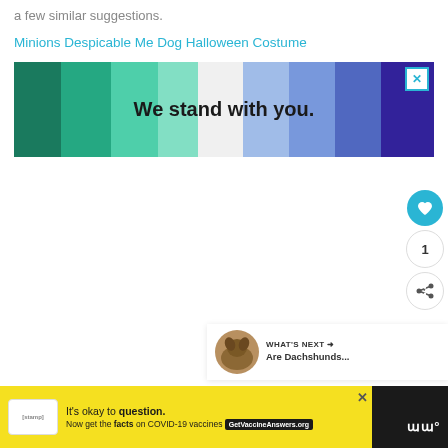a few similar suggestions.
Minions Despicable Me Dog Halloween Costume
[Figure (screenshot): Advertisement banner with gradient color blocks (green to teal on left, blue to purple on right) with text 'We stand with you.' and a close button X]
[Figure (screenshot): What's Next panel showing a small circular dog photo with text 'WHAT'S NEXT → Are Dachshunds...']
[Figure (screenshot): Bottom advertisement bar on dark background with yellow ad reading 'It's okay to question. Now get the facts on COVID-19 vaccines' with GetVaccineAnswers.org button and brand logo]